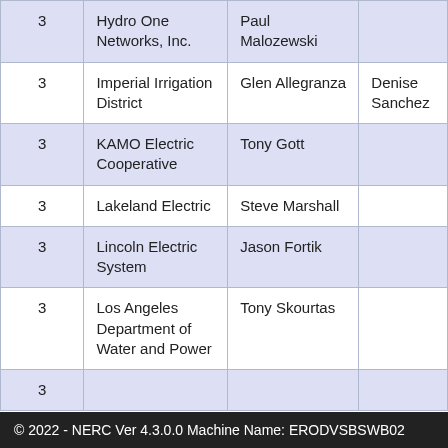|  | Organization | Primary Contact | Alternate Contact |
| --- | --- | --- | --- |
| 3 | Hydro One Networks, Inc. | Paul Malozewski |  |
| 3 | Imperial Irrigation District | Glen Allegranza | Denise Sanchez |
| 3 | KAMO Electric Cooperative | Tony Gott |  |
| 3 | Lakeland Electric | Steve Marshall |  |
| 3 | Lincoln Electric System | Jason Fortik |  |
| 3 | Los Angeles Department of Water and Power | Tony Skourtas |  |
| 3 |  |  |  |
© 2022 - NERC Ver 4.3.0.0 Machine Name: ERODVSBSWB02